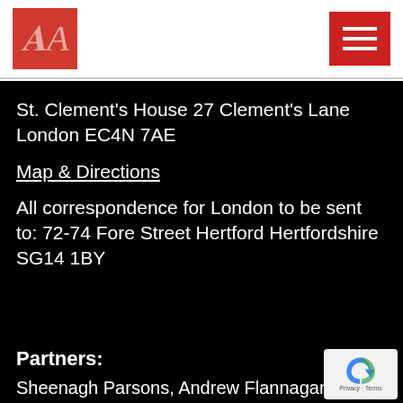[Figure (logo): Red square logo with italic letter A in pink/salmon color, representing a legal firm]
St. Clement's House 27 Clement's Lane London EC4N 7AE
Map & Directions
All correspondence for London to be sent to: 72-74 Fore Street Hertford Hertfordshire SG14 1BY
Partners:
Sheenagh Parsons, Andrew Flannagan, Joan Westbrook, Peter Westbrook, Sheri-Anne Miz Catherine Dean, Mark Stigwood, Lesley-Ann